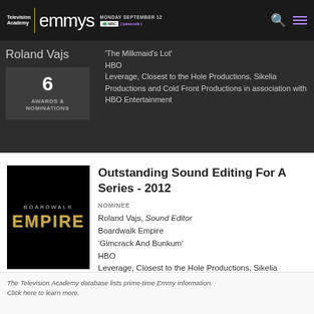Television Academy emmys MONDAY SEPTEMBER 12 NBC | peacock
Roland Vajs
6
AWARDS &
NOMINATIONS
'The Milkmaid's Lot'
HBO
Leverage, Closest to the Hole Productions, Sikelia Productions and Cold Front Productions in association with HBO Entertainment
[Figure (photo): Boardwalk Empire TV show logo — black background with 'BOARDWALK EMPIRE' text in gold/metallic lettering]
Outstanding Sound Editing For A Series - 2012
NOMINEE
Roland Vajs, Sound Editor
Boardwalk Empire
'Gimcrack And Bunkum'
HBO
Leverage, Closest to the Hole Productions, Sikelia Productions and Cold Front Productions in association with HBO Entertainment
The Television Academy database lists prime-time Emmy information. Click here to learn more.